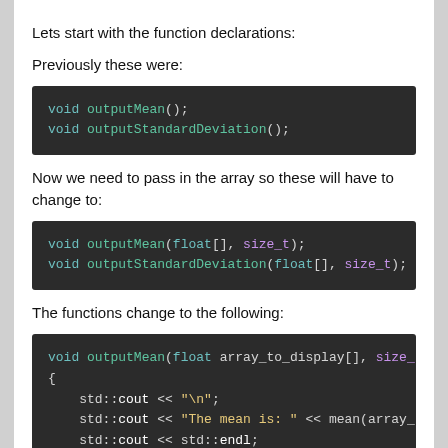Lets start with the function declarations:
Previously these were:
[Figure (screenshot): Code block showing: void outputMean(); void outputStandardDeviation();]
Now we need to pass in the array so these will have to change to:
[Figure (screenshot): Code block showing: void outputMean(float[], size_t); void outputStandardDeviation(float[], size_t);]
The functions change to the following:
[Figure (screenshot): Code block showing function definitions for outputMean and outputStandardDeviation with float array and size_t parameters, std::cout statements]